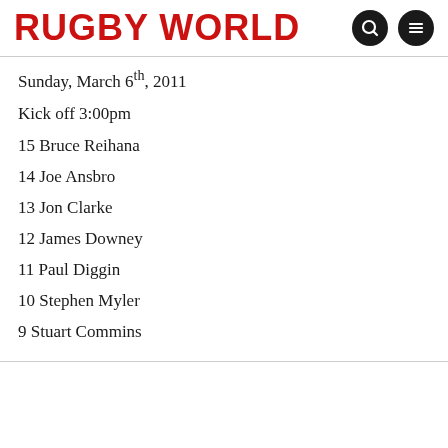RUGBY WORLD
Sunday, March 6th, 2011
Kick off 3:00pm
15 Bruce Reihana
14 Joe Ansbro
13 Jon Clarke
12 James Downey
11 Paul Diggin
10 Stephen Myler
9 Stuart Commins